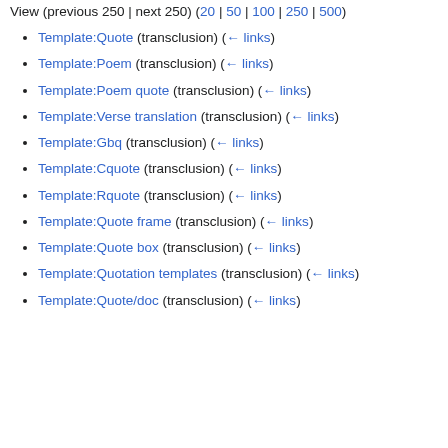View (previous 250 | next 250) (20 | 50 | 100 | 250 | 500)
Template:Quote (transclusion) (← links)
Template:Poem (transclusion) (← links)
Template:Poem quote (transclusion) (← links)
Template:Verse translation (transclusion) (← links)
Template:Gbq (transclusion) (← links)
Template:Cquote (transclusion) (← links)
Template:Rquote (transclusion) (← links)
Template:Quote frame (transclusion) (← links)
Template:Quote box (transclusion) (← links)
Template:Quotation templates (transclusion) (← links)
Template:Quote/doc (transclusion) (← links)